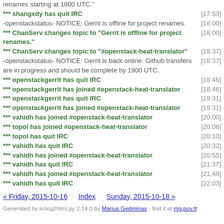renames starting at 1800 UTC."
*** shangxdy has quit IRC [17:53]
-openstackstatus- NOTICE: Gerrit is offline for project renames. [18:00]
*** ChanServ changes topic to "Gerrit is offline for project renames." [18:00]
*** ChanServ changes topic to "#openstack-heat-translator" [18:37]
-openstackstatus- NOTICE: Gerrit is back online. Github transfers are in progress and should be complete by 1900 UTC. [18:37]
*** openstackgerrit has quit IRC [18:46]
*** openstackgerrit has joined #openstack-heat-translator [18:46]
*** openstackgerrit has quit IRC [19:31]
*** openstackgerrit has joined #openstack-heat-translator [19:31]
*** vahidh has joined #openstack-heat-translator [20:00]
*** topol has joined #openstack-heat-translator [20:06]
*** topol has quit IRC [20:10]
*** vahidh has quit IRC [20:32]
*** vahidh has joined #openstack-heat-translator [20:55]
*** vahidh has quit IRC [21:37]
*** vahidh has joined #openstack-heat-translator [21:48]
*** vahidh has quit IRC [22:03]
« Friday, 2015-10-16   Index   Sunday, 2015-10-18 »
Generated by irclog2html.py 2.14.0 by Marius Gedminas - find it at mg.pov.lt!